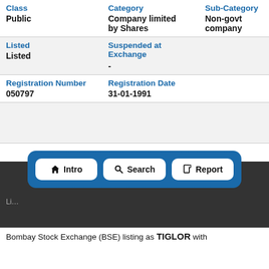| Class | Category | Sub-Category |
| --- | --- | --- |
| Public | Company limited by Shares | Non-govt company |
| Listed | Suspended at Exchange |  |
| Listed | - |  |
| Registration Number | Registration Date |  |
| 050797 | 31-01-1991 |  |
[Figure (screenshot): Navigation overlay with three buttons: Intro (home icon), Search (magnifier icon), Report (document icon), inside a blue dashed rounded border on a dark background]
Bombay Stock Exchange (BSE) listing as TIGLOR with